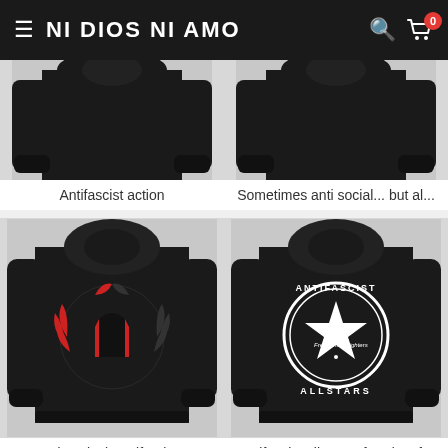NI DIOS NI AMO
[Figure (photo): Black hoodie back view with Antifascist action logo (partial, top cropped)]
[Figure (photo): Black hoodie back view with 'Sometimes anti social... but al...' text (partial, top cropped)]
Antifascist action
Sometimes anti social... but al...
[Figure (photo): Black hoodie back view with Red & Black Antifa Flags wreath logo]
[Figure (photo): Black hoodie back view with Antifascist allstars Freedom Fighters circular logo]
Red & Black Antifa Flags
Antifascist allstars - freedom f...
[Figure (photo): Black hoodie back view (partial, bottom of page), left column]
[Figure (photo): Black hoodie back view (partial, bottom of page), right column]